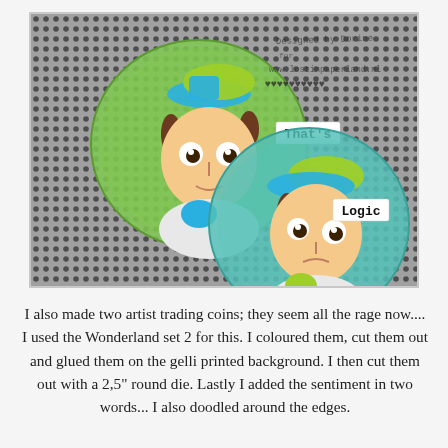[Figure (photo): Two artist trading coins on a halftone dot background. Each coin features a cartoon character (child with a backward baseball cap) colored with Copics, mounted on circular gelli-printed green/teal backgrounds. The top-left coin has a label reading 'That's' and the bottom-right coin has a label reading 'Logic'. There is also decorative stamped text in the upper right corner.]
I also made two artist trading coins; they seem all the rage now.... I used the Wonderland set 2 for this. I coloured them, cut them out and glued them on the gelli printed background. I then cut them out with a 2,5" round die. Lastly I added the sentiment in two words... I also doodled around the edges.